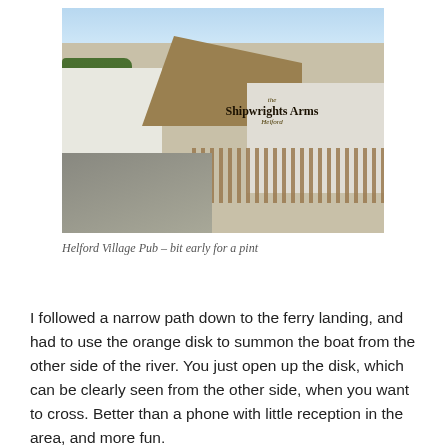[Figure (photo): Exterior photograph of the Shipwrights Arms pub in Helford Village. A thatched-roof white building with a wooden fence in the foreground and hedges to the left. The pub sign reads 'the Shipwrights Arms Helford'. Clear sunny day.]
Helford Village Pub – bit early for a pint
I followed a narrow path down to the ferry landing, and had to use the orange disk to summon the boat from the other side of the river. You just open up the disk, which can be clearly seen from the other side, when you want to cross. Better than a phone with little reception in the area, and more fun.